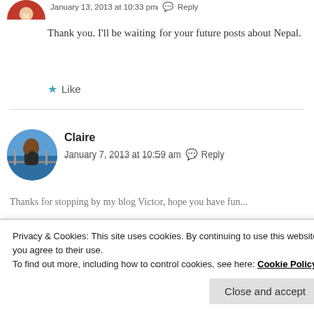[Figure (photo): Partial circular avatar of a person in a red jacket, cropped at top of page]
January 13, 2013 at 10:33 pm   Reply
Thank you. I'll be waiting for your future posts about Nepal.
★ Like
[Figure (photo): Circular avatar photo of Claire, a woman with curly hair looking out over the sea from a railing]
Claire
January 7, 2013 at 10:59 am   Reply
Thanks for stopping by my blog Victor, hope you have fun...
Privacy & Cookies: This site uses cookies. By continuing to use this website, you agree to their use. To find out more, including how to control cookies, see here: Cookie Policy
Close and accept